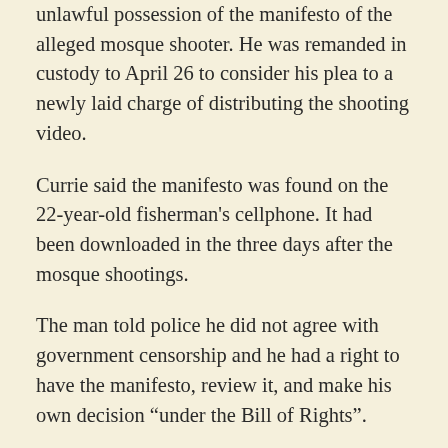unlawful possession of the manifesto of the alleged mosque shooter. He was remanded in custody to April 26 to consider his plea to a newly laid charge of distributing the shooting video.
Currie said the manifesto was found on the 22-year-old fisherman's cellphone. It had been downloaded in the three days after the mosque shootings.
The man told police he did not agree with government censorship and he had a right to have the manifesto, review it, and make his own decision “under the Bill of Rights”.
One man, aged 17, charged with distributing the video of the mosque killings, has asked for diversion under the scheme that allows first offenders to avoid convictions if they apologise and make